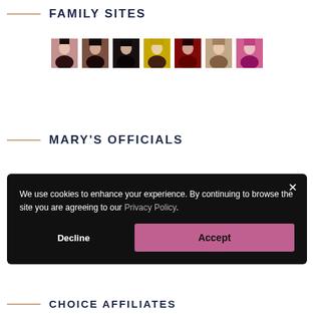FAMILY SITES
[Figure (photo): Row of 7 small thumbnail portrait photos of women]
MARY'S OFFICIALS
We use cookies to enhance your experience. By continuing to browse the site you are agreeing to our Privacy Policy.
Decline  Accept
CHOICE AFFILIATES